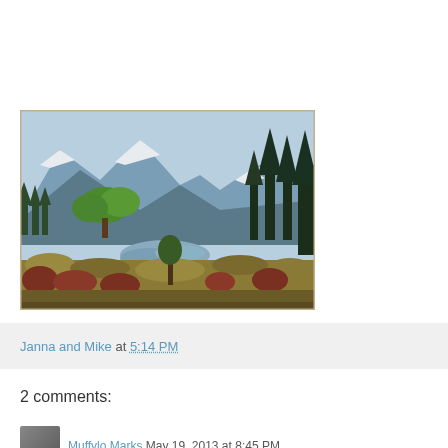[Figure (photo): Mountain landscape with snow-capped peaks in the background, evergreen trees on the right, a small river or stream in the middle, and grassy wetland vegetation in the foreground. Green deciduous trees visible as well.]
Janna and Mike at 5:14 PM
2 comments:
Muffylo Marks  May 19, 2013 at 8:45 PM